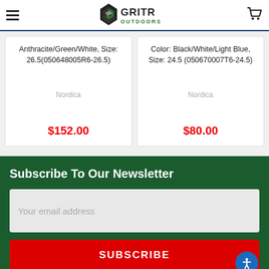GRITR OUTDOORS
Anthracite/Green/White, Size: 26.5(050648005R6-26.5)
Nordica
$152.00
Color: Black/White/Light Blue, Size: 24.5 (050670007T6-24.5)
Nordica
$80.00
Subscribe To Our Newsletter
Your email address
SUBSCRIBE